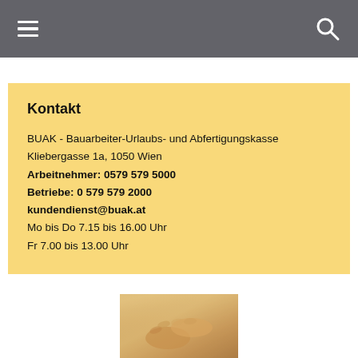Navigation bar with hamburger menu and search icon
Kontakt
BUAK - Bauarbeiter-Urlaubs- und Abfertigungskasse
Kliebergasse 1a, 1050 Wien
Arbeitnehmer: 0579 579 5000
Betriebe: 0 579 579 2000
kundendienst@buak.at
Mo bis Do 7.15 bis 16.00 Uhr
Fr 7.00 bis 13.00 Uhr
[Figure (photo): Two hands clasped together, warm golden/amber tones]